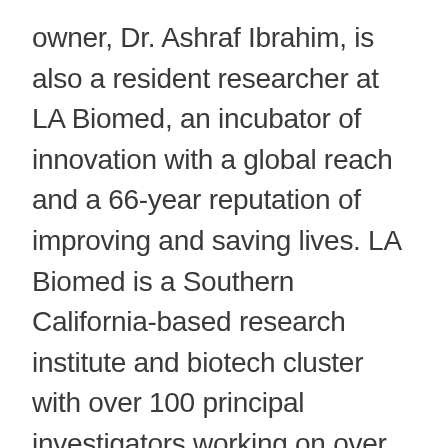owner, Dr. Ashraf Ibrahim, is also a resident researcher at LA Biomed, an incubator of innovation with a global reach and a 66-year reputation of improving and saving lives. LA Biomed is a Southern California-based research institute and biotech cluster with over 100 principal investigators working on over 600 research studies, including therapies for multiple orphan diseases. There is a good chance that Vitalex is performing its research and development activities at the LA Biomed facility, located at 1124 W Carson St, Torrance, CA 90502.
Despite the above, Vitalex has received 3...